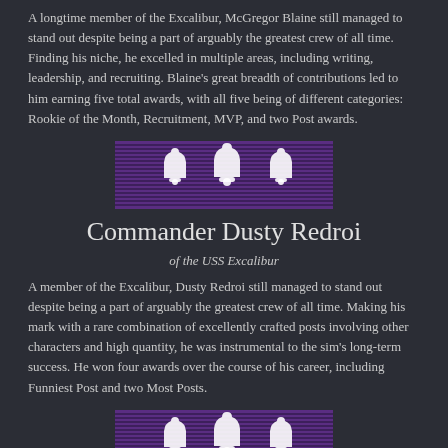A longtime member of the Excalibur, McGregor Blaine still managed to stand out despite being a part of arguably the greatest crew of all time. Finding his niche, he excelled in multiple areas, including writing, leadership, and recruiting. Blaine's great breadth of contributions led to him earning five total awards, with all five being of different categories: Rookie of the Month, Recruitment, MVP, and two Post awards.
[Figure (illustration): Purple and dark striped ribbon bar with three white bell/ghost icons representing medals or awards]
Commander Dusty Redroi
of the USS Excalibur
A member of the Excalibur, Dusty Redroi still managed to stand out despite being a part of arguably the greatest crew of all time. Making his mark with a rare combination of excellently crafted posts involving other characters and high quantity, he was instrumental to the sim's long-term success. He won four awards over the course of his career, including Funniest Post and two Most Posts.
[Figure (illustration): Purple and dark striped ribbon bar with three white bell/ghost icons representing medals or awards]
Captain Zingela